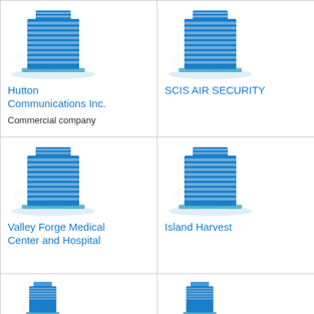[Figure (illustration): Blue building/office block icon for Hutton Communications Inc.]
Hutton Communications Inc.
Commercial company
[Figure (illustration): Blue building/office block icon for SCIS AIR SECURITY]
SCIS AIR SECURITY
[Figure (illustration): Blue building/office block icon for Valley Forge Medical Center and Hospital]
Valley Forge Medical Center and Hospital
[Figure (illustration): Blue building/office block icon for Island Harvest]
Island Harvest
[Figure (illustration): Blue building/office block icon (partial, bottom row left)]
[Figure (illustration): Blue building/office block icon (partial, bottom row right)]